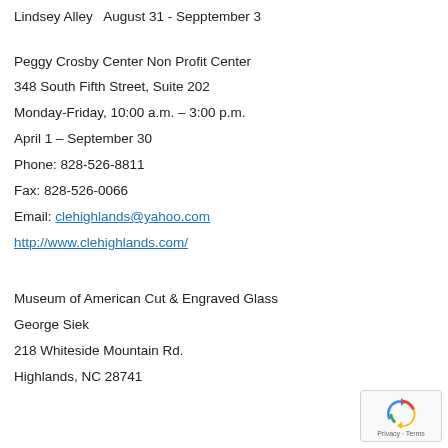Lindsey Alley   August 31 - Sepptember 3
Peggy Crosby Center Non Profit Center
348 South Fifth Street, Suite 202
Monday-Friday, 10:00 a.m. – 3:00 p.m.
April 1 – September 30
Phone: 828-526-8811
Fax: 828-526-0066
Email: clehighlands@yahoo.com
http://www.clehighlands.com/
Museum of American Cut & Engraved Glass
George Siek
218 Whiteside Mountain Rd.
Highlands, NC 28741